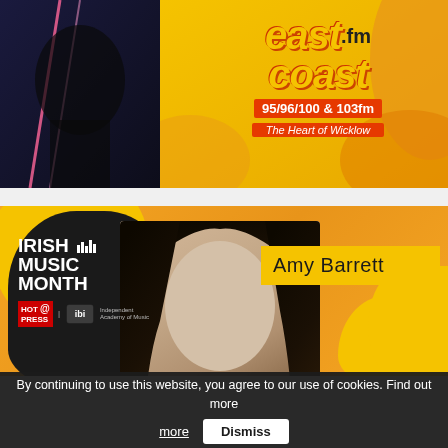[Figure (illustration): East Coast FM radio station banner with logo, frequency 95/96/100 & 103fm, The Heart of Wicklow tagline, dark background left side with artistic lines, yellow/orange background]
[Figure (illustration): Irish Music Month promotional card featuring Amy Barrett. Orange background with yellow blobs, black guitar-pick shaped logo with IRISH MUSIC MONTH text and Hot Press / other logos. Photo of young woman with long dark hair. Yellow name tag reading Amy Barrett.]
By continuing to use this website, you agree to our use of cookies. Find out more
Dismiss